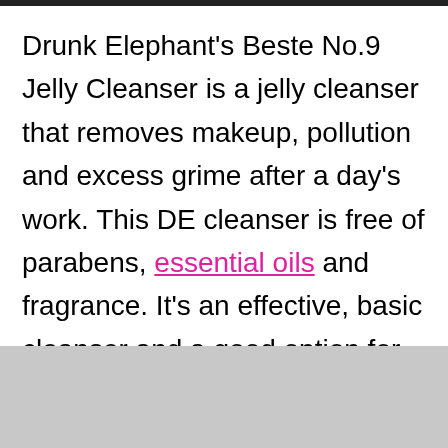Drunk Elephant's Beste No.9 Jelly Cleanser is a jelly cleanser that removes makeup, pollution and excess grime after a day's work. This DE cleanser is free of parabens, essential oils and fragrance. It's an effective, basic cleanser and a good option for sensitive skin types. While this cleanser